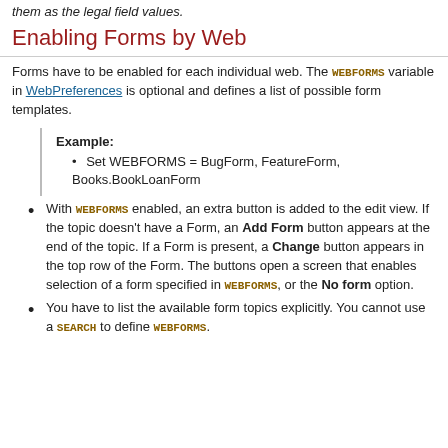them as the legal field values.
Enabling Forms by Web
Forms have to be enabled for each individual web. The WEBFORMS variable in WebPreferences is optional and defines a list of possible form templates.
Example:
• Set WEBFORMS = BugForm, FeatureForm, Books.BookLoanForm
With WEBFORMS enabled, an extra button is added to the edit view. If the topic doesn't have a Form, an Add Form button appears at the end of the topic. If a Form is present, a Change button appears in the top row of the Form. The buttons open a screen that enables selection of a form specified in WEBFORMS, or the No form option.
You have to list the available form topics explicitly. You cannot use a SEARCH to define WEBFORMS.